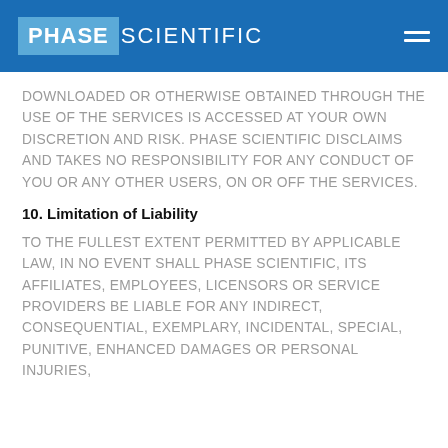PHASE SCIENTIFIC
DOWNLOADED OR OTHERWISE OBTAINED THROUGH THE USE OF THE SERVICES IS ACCESSED AT YOUR OWN DISCRETION AND RISK. PHASE SCIENTIFIC DISCLAIMS AND TAKES NO RESPONSIBILITY FOR ANY CONDUCT OF YOU OR ANY OTHER USERS, ON OR OFF THE SERVICES.
10. Limitation of Liability
TO THE FULLEST EXTENT PERMITTED BY APPLICABLE LAW, IN NO EVENT SHALL PHASE SCIENTIFIC, ITS AFFILIATES, EMPLOYEES, LICENSORS OR SERVICE PROVIDERS BE LIABLE FOR ANY INDIRECT, CONSEQUENTIAL, EXEMPLARY, INCIDENTAL, SPECIAL, PUNITIVE, ENHANCED DAMAGES OR PERSONAL INJURIES,